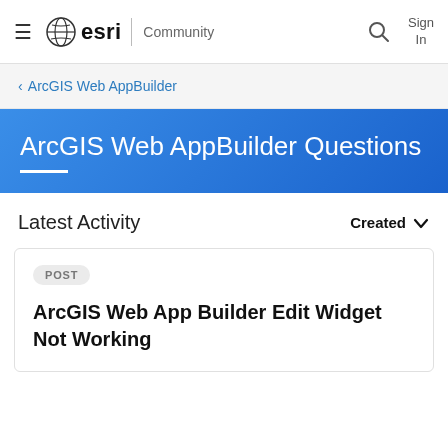≡  esri | Community   🔍  Sign In
‹ ArcGIS Web AppBuilder
ArcGIS Web AppBuilder Questions
Latest Activity
Created  ∨
POST
ArcGIS Web App Builder Edit Widget Not Working